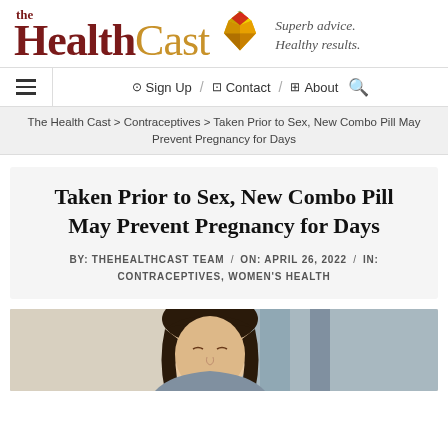[Figure (logo): The HealthCast logo with geometric gem/heart icon, dark red 'Health' and gold 'Cast' text, tagline 'Superb advice. Healthy results.']
≡  ⊙ Sign Up  /  ⊡ Contact  /  ⊞ About  🔍
The Health Cast > Contraceptives > Taken Prior to Sex, New Combo Pill May Prevent Pregnancy for Days
Taken Prior to Sex, New Combo Pill May Prevent Pregnancy for Days
BY: THEHEALTHCAST TEAM / ON: APRIL 26, 2022 / IN: CONTRACEPTIVES, WOMEN'S HEALTH
[Figure (photo): Young woman with long dark hair, eyes closed, looking downward, in a bathroom setting with blue-gray curtain behind her]